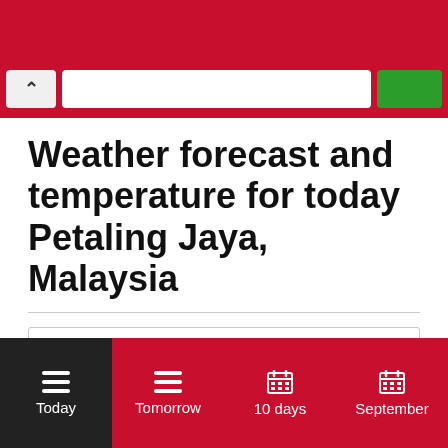[Figure (screenshot): Browser chrome bar with back button, URL bar, and green button on red background]
Weather forecast and temperature for today Petaling Jaya, Malaysia
Contents
Weather forecast for today
Current condition
[Figure (screenshot): Bottom navigation bar with Today (dark), Tomorrow, 10 days, September tabs on red background]